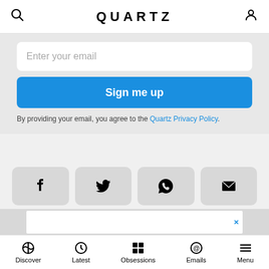QUARTZ
Enter your email
Sign me up
By providing your email, you agree to the Quartz Privacy Policy.
[Figure (screenshot): Social share buttons: Facebook, Twitter, WhatsApp, Email]
https://qz.com/512273/asians-are-p
Copy
[Figure (screenshot): Advertisement banner with close X button]
Discover  Latest  Obsessions  Emails  Menu